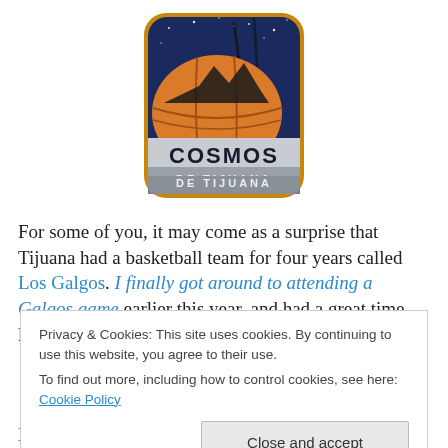[Figure (logo): Cosmos de Tijuana basketball team logo: rounded rectangle badge with night sky background, orange basketball and building silhouette, text 'COSMOS DE TIJUANA']
For some of you, it may come as a surprise that Tijuana had a basketball team for four years called Los Galgos. I finally got around to attending a Galgos game earlier this year, and had a great time learning more about the team,
Privacy & Cookies: This site uses cookies. By continuing to use this website, you agree to their use.
To find out more, including how to control cookies, see here: Cookie Policy
Close and accept
Los Cosmos, and new owners. I spotted this story in